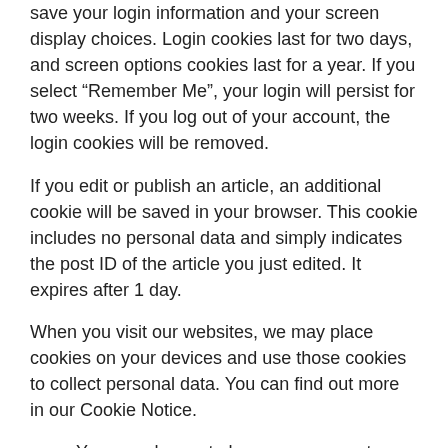save your login information and your screen display choices. Login cookies last for two days, and screen options cookies last for a year. If you select “Remember Me”, your login will persist for two weeks. If you log out of your account, the login cookies will be removed.
If you edit or publish an article, an additional cookie will be saved in your browser. This cookie includes no personal data and simply indicates the post ID of the article you just edited. It expires after 1 day.
When you visit our websites, we may place cookies on your devices and use those cookies to collect personal data. You can find out more in our Cookie Notice.
You can choose to have your computer warn you each time a cookie is being sent, or you can choose to turn off all cookies. You do this through your browser (like Internet Explorer) settings. Each browser is a little different, so look at your browser’s Help menu to learn the correct way to modify your cookies.